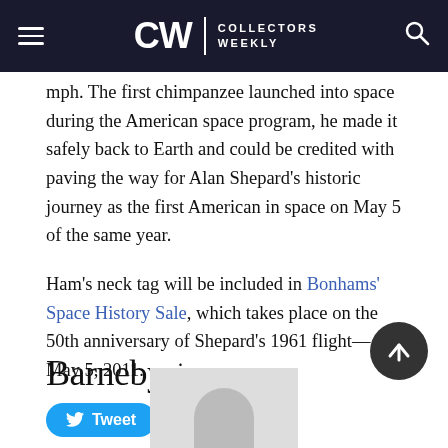CW COLLECTORS WEEKLY
mph. The first chimpanzee launched into space during the American space program, he made it safely back to Earth and could be credited with paving the way for Alan Shepard's historic journey as the first American in space on May 5 of the same year.
Ham's neck tag will be included in Bonhams' Space History Sale, which takes place on the 50th anniversary of Shepard's 1961 flight—May 5, 2011.
[Figure (other): Tweet button with Twitter bird icon]
[Figure (logo): Barnebys logo with registered trademark dot]
[Figure (photo): Partial photo visible at bottom of page, appears to show a person]
[Figure (other): Scroll-up circular button with upward arrow]